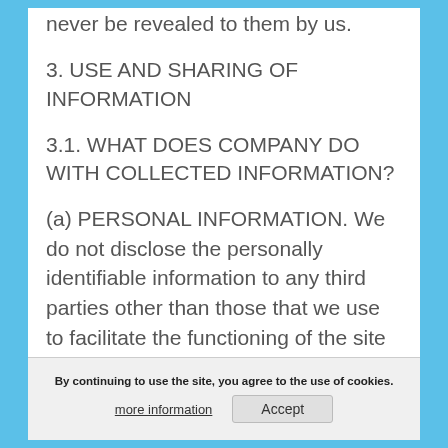never be revealed to them by us.
3. USE AND SHARING OF INFORMATION
3.1. WHAT DOES COMPANY DO WITH COLLECTED INFORMATION?
(a) PERSONAL INFORMATION. We do not disclose the personally identifiable information to any third parties other than those that we use to facilitate the functioning of the site such as a hosting company and email program for mailings.
By continuing to use the site, you agree to the use of cookies. more information Accept